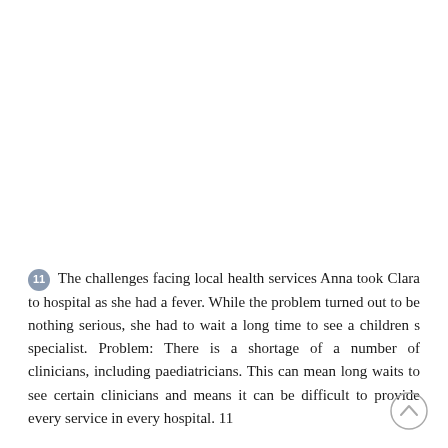11 The challenges facing local health services Anna took Clara to hospital as she had a fever. While the problem turned out to be nothing serious, she had to wait a long time to see a children s specialist. Problem: There is a shortage of a number of clinicians, including paediatricians. This can mean long waits to see certain clinicians and means it can be difficult to provide every service in every hospital. 11